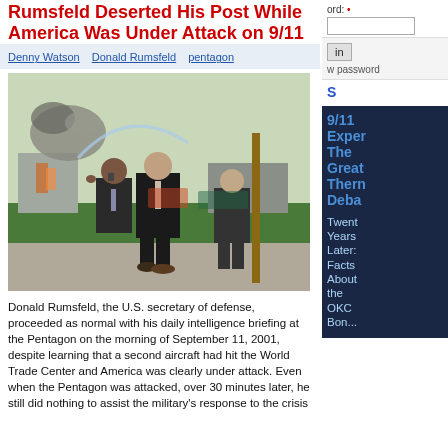Rumsfeld Deserted His Post While America Was Under Attack on 9/11
Denny Watson
Donald Rumsfeld
pentagon
[Figure (photo): Three men in dark suits walking outdoors with smoke and fire visible in the background at the Pentagon on 9/11]
Donald Rumsfeld, the U.S. secretary of defense, proceeded as normal with his daily intelligence briefing at the Pentagon on the morning of September 11, 2001, despite learning that a second aircraft had hit the World Trade Center and America was clearly under attack. Even when the Pentagon was attacked, over 30 minutes later, he still did nothing to assist the military's response to the crisis